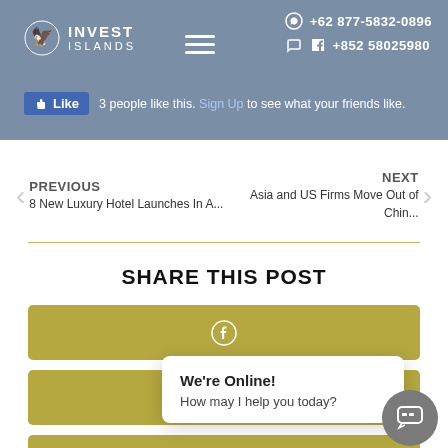INVEST ISLANDS | +62 877-5832-0896 | +852 58025980
👍 Like  3 people like this. Sign Up to see what your friends like.
PREVIOUS
8 New Luxury Hotel Launches In A...
NEXT
Asia and US Firms Move Out of Chin...
SHARE THIS POST
[Figure (other): Facebook share button (gold/olive colored)]
[Figure (other): Google+ share button (gold/olive colored)]
[Figure (other): Partially visible LinkedIn share button (gold/olive colored)]
We're Online!
How may I help you today?